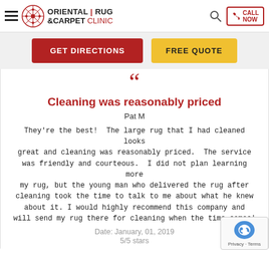Oriental Rug & Carpet Clinic — CALL NOW
GET DIRECTIONS | FREE QUOTE
Cleaning was reasonably priced
Pat M
They're the best!  The large rug that I had cleaned looks great and cleaning was reasonably priced.  The service was friendly and courteous.  I did not plan learning more my rug, but the young man who delivered the rug after cleaning took the time to talk to me about what he knew about it. I would highly recommend this company and will send my rug there for cleaning when the time comes!
Date: January, 01, 2019
5/5 stars